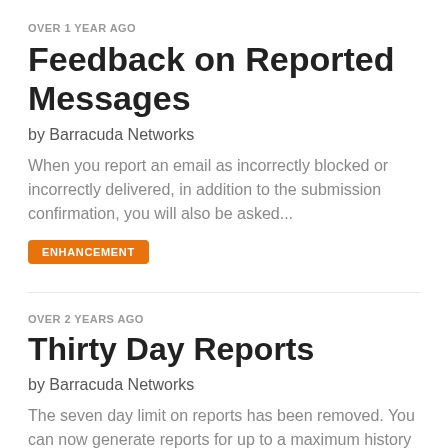OVER 1 YEAR AGO
Feedback on Reported Messages
by Barracuda Networks
When you report an email as incorrectly blocked or incorrectly delivered, in addition to the submission confirmation, you will also be asked...
ENHANCEMENT
OVER 2 YEARS AGO
Thirty Day Reports
by Barracuda Networks
The seven day limit on reports has been removed. You can now generate reports for up to a maximum history of 30 days of data. Reports...